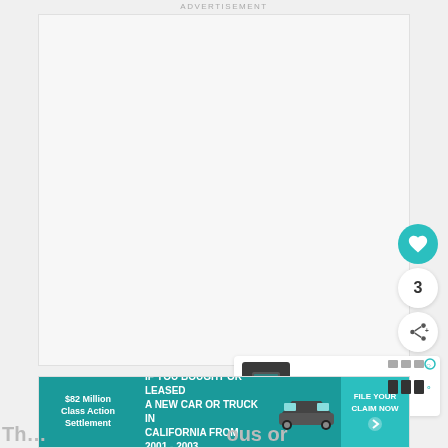ADVERTISEMENT
[Figure (other): Advertisement placeholder area (empty white/light gray box)]
[Figure (other): Heart/like button (teal circular button with heart icon), count bubble showing '3', share button (white circular button with share icon)]
[Figure (other): What's Next panel with thumbnail image of a device and text: WHAT'S NEXT → / The Ever-Changing...]
[Figure (other): Advertisement banner: $82 Million Class Action Settlement | IF YOU BOUGHT OR LEASED A NEW CAR OR TRUCK IN CALIFORNIA FROM 2001 - 2003 | FILE YOUR CLAIM NOW]
Th... ous or